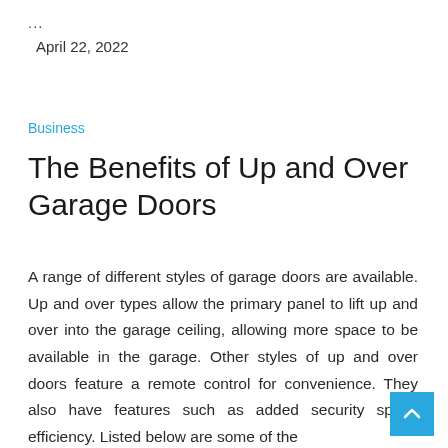...
April 22, 2022
Business
The Benefits of Up and Over Garage Doors
A range of different styles of garage doors are available. Up and over types allow the primary panel to lift up and over into the garage ceiling, allowing more space to be available in the garage. Other styles of up and over doors feature a remote control for convenience. They also have features such as added security space efficiency. Listed below are some of the